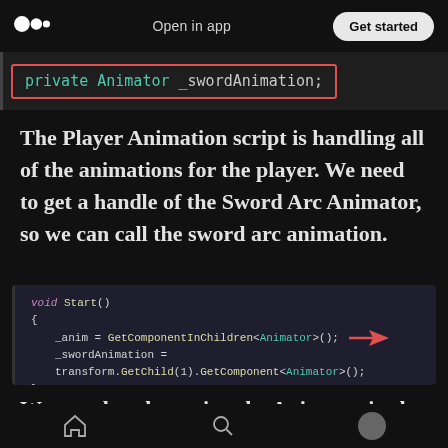Open in app  Get started
[Figure (screenshot): Code snippet showing: private Animator _swordAnimation; highlighted with red border on dark background]
The Player Animation script is handling all of the animations for the player. We need to get a handle of the Sword Arc Animator, so we can call the sword arc animation.
[Figure (screenshot): Code block showing void Start() { _anim = GetComponentInChildren<Animator>(); _swordAnimation = transform.GetChild(1).GetComponent<Animator>(); } with red arrow pointing to Animator]
We are already getting the Animator in the Sprite
Home  Search  Profile